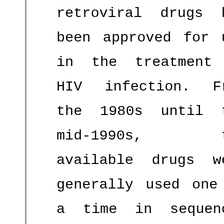retroviral drugs had been approved for use in the treatment of HIV infection. From the 1980s until the mid-1990s, the available drugs were generally used one at a time in sequence, but their effects were disappointingly short-lived. Greater success